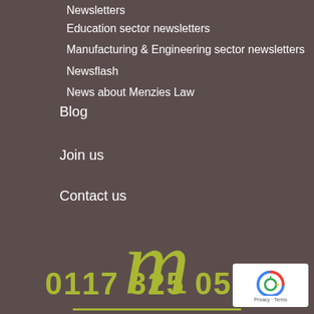Newsletters
Education sector newsletters
Manufacturing & Engineering sector newsletters
Newsflash
News about Menzies Law
Blog
Join us
Contact us
[Figure (logo): Menzies Law logo - stylized italic lowercase 'm' in olive/yellow-green color with underline]
0117 325 0526